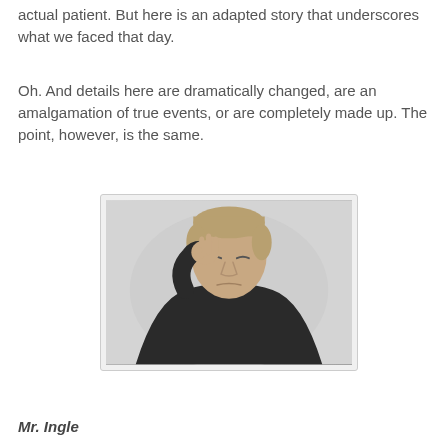actual patient. But here is an adapted story that underscores what we faced that day.
Oh. And details here are dramatically changed, are an amalgamation of true events, or are completely made up. The point, however, is the same.
[Figure (photo): A man with short hair wearing a dark sweater, holding his hand to his temple/forehead with eyes closed, appearing to be in pain or distress, photographed against a light gray background.]
Mr. Ingle